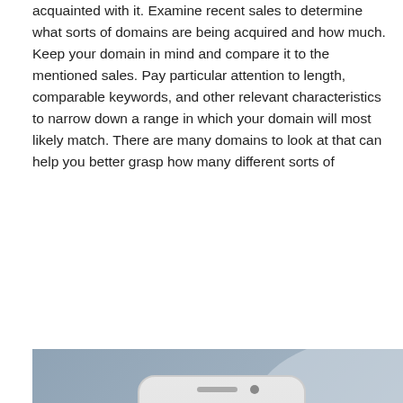acquainted with it. Examine recent sales to determine what sorts of domains are being acquired and how much. Keep your domain in mind and compare it to the mentioned sales. Pay particular attention to length, comparable keywords, and other relevant characteristics to narrow down a range in which your domain will most likely match. There are many domains to look at that can help you better grasp how many different sorts of
Read More
[Figure (photo): A hand holding a white smartphone displaying a lock screen showing time 12:09, date January 19, with notifications including 3 new messages, Luca likes your photo, and George Bean. App icons are visible at top of the phone screen.]